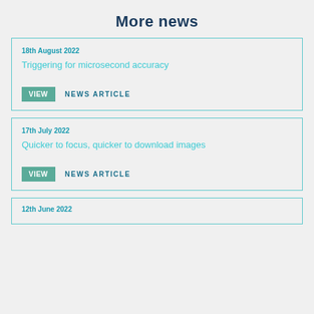More news
18th August 2022 — Triggering for microsecond accuracy — VIEW NEWS ARTICLE
17th July 2022 — Quicker to focus, quicker to download images — VIEW NEWS ARTICLE
12th June 2022